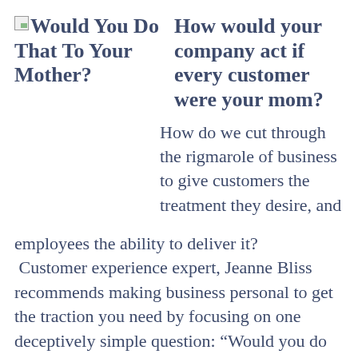[Figure (other): Broken image icon placeholder for book cover thumbnail]
Would You Do That To Your Mother?
How would your company act if every customer were your mom?
How do we cut through the rigmarole of business to give customers the treatment they desire, and employees the ability to deliver it? Customer experience expert, Jeanne Bliss recommends making business personal to get the traction you need by focusing on one deceptively simple question: “Would you do that to your mother?”